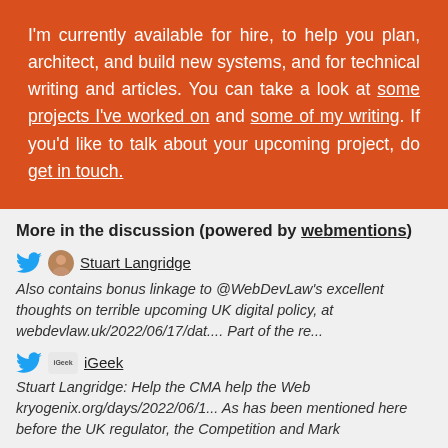I'm currently available for hire, to help you plan, architect, and build new systems, and for technical writing and articles. You can take a look at some projects I've worked on and some of my writing. If you'd like to talk about your upcoming project, do get in touch.
More in the discussion (powered by webmentions)
Stuart Langridge
Also contains bonus linkage to @WebDevLaw's excellent thoughts on terrible upcoming UK digital policy, at webdevlaw.uk/2022/06/17/dat.... Part of the re...
iGeek
Stuart Langridge: Help the CMA help the Web kryogenix.org/days/2022/06/1... As has been mentioned here before the UK regulator, the Competition and Mark